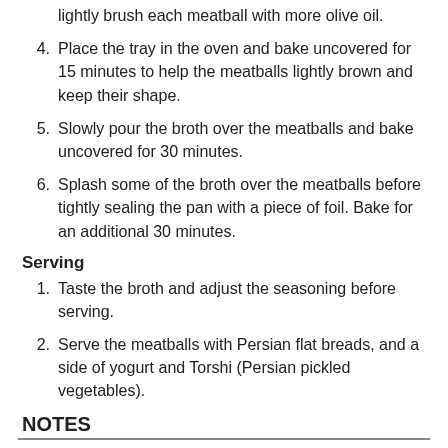lightly brush each meatball with more olive oil.
4. Place the tray in the oven and bake uncovered for 15 minutes to help the meatballs lightly brown and keep their shape.
5. Slowly pour the broth over the meatballs and bake uncovered for 30 minutes.
6. Splash some of the broth over the meatballs before tightly sealing the pan with a piece of foil. Bake for an additional 30 minutes.
Serving
1. Taste the broth and adjust the seasoning before serving.
2. Serve the meatballs with Persian flat breads, and a side of yogurt and Torshi (Persian pickled vegetables).
NOTES